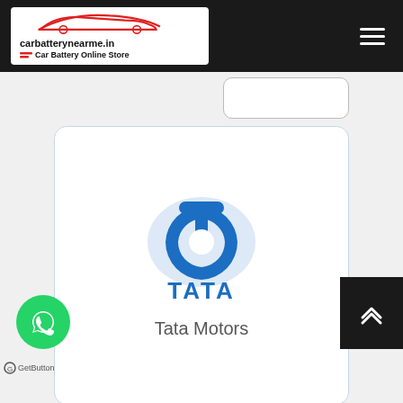[Figure (logo): carbatterynearme.in website logo with red car silhouette and text 'Car Battery Online Store']
[Figure (logo): Tata Motors brand card with Tata logo and text 'Tata Motors']
[Figure (logo): Toyota brand card with Toyota logo and text 'Toyota']
[Figure (logo): Partial third brand card visible at bottom]
[Figure (logo): WhatsApp GetButton widget at bottom left]
[Figure (logo): Scroll to top button at bottom right]